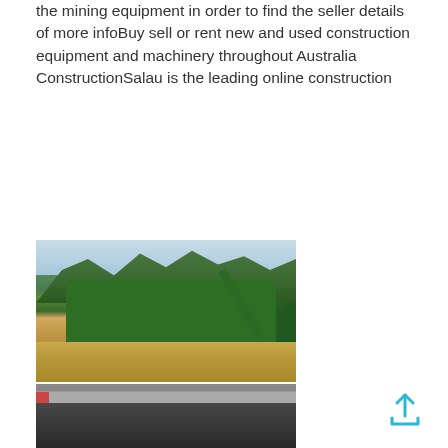the mining equipment in order to find the seller details of more infoBuy sell or rent new and used construction equipment and machinery throughout Australia ConstructionSalau is the leading online construction
[Figure (other): Live Chat button in cyan/blue color]
[Figure (photo): Outdoor photo of green mining/crushing equipment on a gravel site with trees in background]
[Figure (photo): Industrial crusher machine (VSI or cone crusher) inside a warehouse/factory, dark grey machine on gravel floor with red structural supports]
[Figure (photo): Partial view of industrial machinery, dark tones, partially cropped at bottom of page]